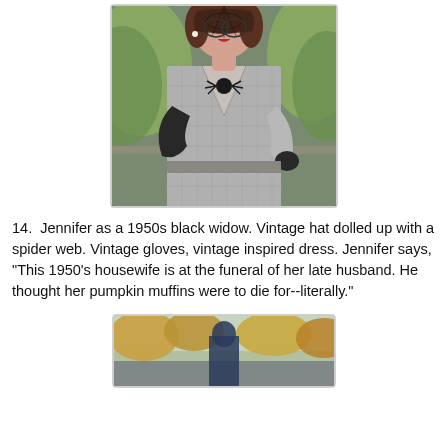[Figure (photo): A woman dressed as a 1950s black widow Halloween costume. She wears a vintage-style grey checked/plaid fitted dress with short puffed sleeves, black sheer gloves, a spider brooch/necklace on her chest, and a spider web hat accessory over her face. She is posing outdoors with green foliage in the background.]
14.  Jennifer as a 1950s black widow. Vintage hat dolled up with a spider web. Vintage gloves, vintage inspired dress. Jennifer says, "This 1950's housewife is at the funeral of her late husband. He thought her pumpkin muffins were to die for--literally."
[Figure (photo): A partial view of another photo below, showing an outdoor scene with autumn foliage and what appears to be a person in costume.]